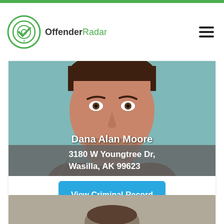OffenderRadar
[Figure (photo): Mugshot of Dana Alan Moore, a middle-aged white male with beard and mustache, wearing a plaid jacket, teal background]
Dana Alan Moore
3180 W Youngtree Dr, Wasilla, AK 99623
View Criminal Record
Show Offenses
[Figure (photo): Partial mugshot of a second individual, cropped at bottom of page]